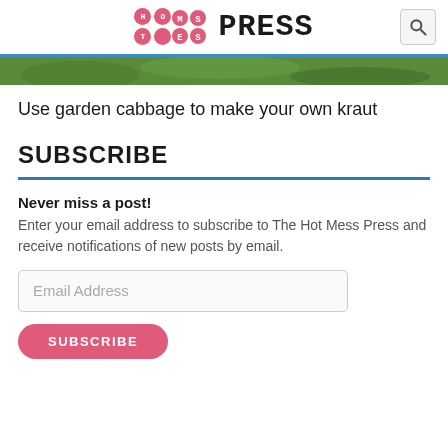The Hot Mess Press
[Figure (photo): Partial image of green garden cabbage leaves, cropped strip]
Use garden cabbage to make your own kraut
SUBSCRIBE
Never miss a post!
Enter your email address to subscribe to The Hot Mess Press and receive notifications of new posts by email.
Email Address
SUBSCRIBE